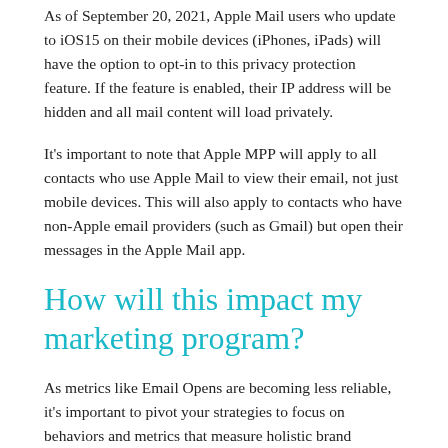As of September 20, 2021, Apple Mail users who update to iOS15 on their mobile devices (iPhones, iPads) will have the option to opt-in to this privacy protection feature. If the feature is enabled, their IP address will be hidden and all mail content will load privately.
It's important to note that Apple MPP will apply to all contacts who use Apple Mail to view their email, not just mobile devices. This will also apply to contacts who have non-Apple email providers (such as Gmail) but open their messages in the Apple Mail app.
How will this impact my marketing program?
As metrics like Email Opens are becoming less reliable, it's important to pivot your strategies to focus on behaviors and metrics that measure holistic brand engagement